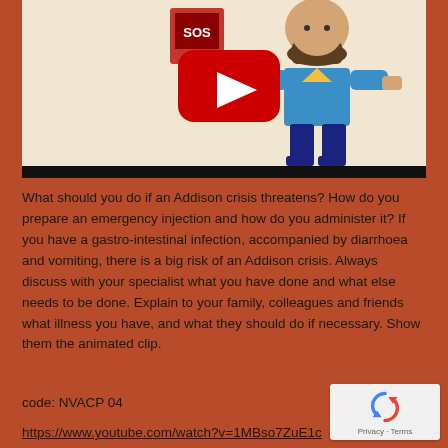[Figure (screenshot): YouTube video thumbnail showing an animated cartoon character with a beard wearing a blue shirt, standing next to an SOS sign/booth. A large red YouTube play button is overlaid in the center. The background is a light beige/cream color with a black progress bar at the bottom.]
What should you do if an Addison crisis threatens? How do you prepare an emergency injection and how do you administer it? If you have a gastro-intestinal infection, accompanied by diarrhoea and vomiting, there is a big risk of an Addison crisis. Always discuss with your specialist what you have done and what else needs to be done. Explain to your family, colleagues and friends what illness you have, and what they should do if necessary. Show them the animated clip.
code: NVACP 04
https://www.youtube.com/watch?v=1MBso7ZuE1c